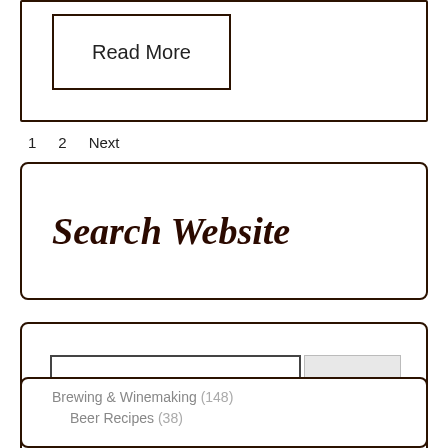Read More
1  2  Next
Search Website
Search
Brewing & Winemaking (148)
Beer Recipes (38)